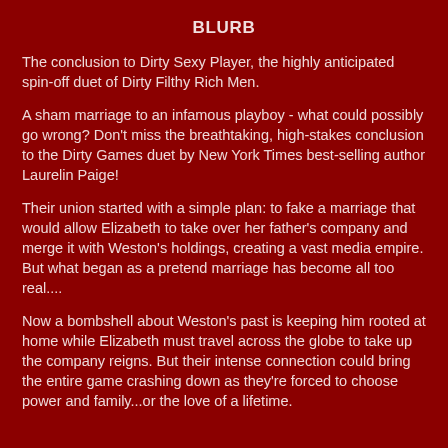BLURB
The conclusion to Dirty Sexy Player, the highly anticipated spin-off duet of Dirty Filthy Rich Men.
A sham marriage to an infamous playboy - what could possibly go wrong? Don't miss the breathtaking, high-stakes conclusion to the Dirty Games duet by New York Times best-selling author Laurelin Paige!
Their union started with a simple plan: to fake a marriage that would allow Elizabeth to take over her father's company and merge it with Weston's holdings, creating a vast media empire. But what began as a pretend marriage has become all too real....
Now a bombshell about Weston's past is keeping him rooted at home while Elizabeth must travel across the globe to take up the company reigns. But their intense connection could bring the entire game crashing down as they're forced to choose power and family...or the love of a lifetime.